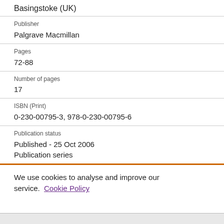Basingstoke (UK)
Publisher
Palgrave Macmillan
Pages
72-88
Number of pages
17
ISBN (Print)
0-230-00795-3, 978-0-230-00795-6
Publication status
Published - 25 Oct 2006
Publication series
We use cookies to analyse and improve our service. Cookie Policy